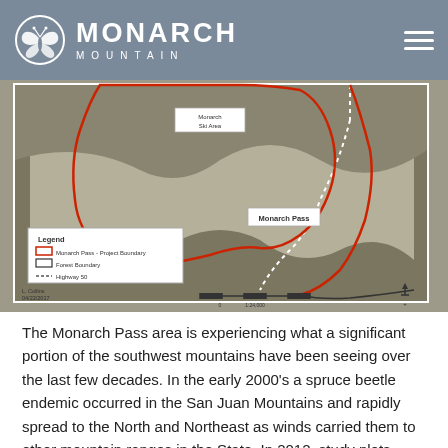MONARCH MOUNTAIN
[Figure (map): Aerial topographic map of Monarch Pass area showing Monarch Ski Area, Monarch Pass label, red boundary lines for Monarch Pass Project Boundary, black line for Forest Boundary, and dotted white line for Highway 50. Legend included with scale bar and north arrow. Credits: L. Collins, 04/22/2017, 1:24,000.]
The Monarch Pass area is experiencing what a significant portion of the southwest mountains have been seeing over the last few decades.  In the early 2000's a spruce beetle endemic occurred in the San Juan Mountains and rapidly spread to the North and Northeast as winds carried them to other mountain ranges in the State.  In 2012, study plots within the Monarch Mountain ski area indicated that the spruce